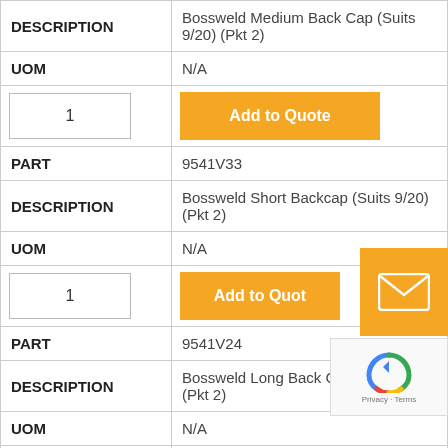| Field | Value |
| --- | --- |
| DESCRIPTION | Bossweld Medium Back Cap (Suits 9/20) (Pkt 2) |
| UOM | N/A |
| [qty input] | [Add to Quote button] |
| PART | 9541V33 |
| DESCRIPTION | Bossweld Short Backcap (Suits 9/20) (Pkt 2) |
| UOM | N/A |
| [qty input] | [Add to Quote button] |
| PART | 9541V24 |
| DESCRIPTION | Bossweld Long Back Cap (Suits 9/20) (Pkt 2) |
| UOM | N/A |
| [qty input] | [Add to Quote button] |